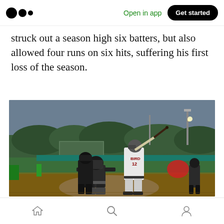Medium logo | Open in app | Get started
struck out a season high six batters, but also allowed four runs on six hits, suffering his first loss of the season.
[Figure (photo): Baseball game photo showing a batter wearing jersey number 12 (BIRD) in a white uniform swinging a bat, with a catcher and umpire crouching behind home plate, and an outfielder visible in the background. The setting is an outdoor baseball field at dusk or evening with stadium lights, green outfield, and trees in the background.]
Home | Search | Profile navigation icons